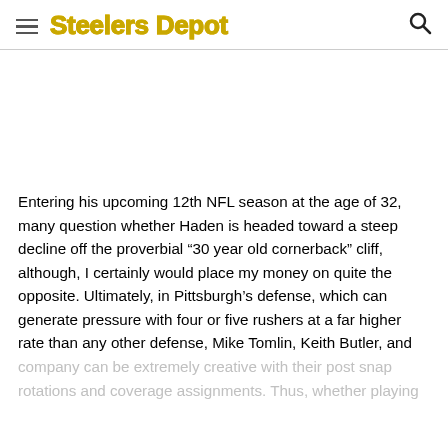Steelers Depot
Entering his upcoming 12th NFL season at the age of 32, many question whether Haden is headed toward a steep decline off the proverbial “30 year old cornerback” cliff, although, I certainly would place my money on quite the opposite. Ultimately, in Pittsburgh’s defense, which can generate pressure with four or five rushers at a far higher rate than any other defense, Mike Tomlin, Keith Butler, and company can be extremely creative with their post snap rotations and coverage assignments. Thus, whether playing